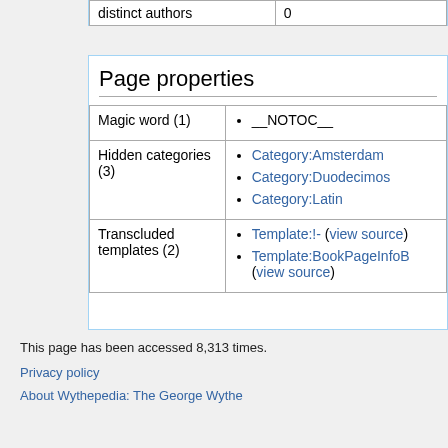| distinct authors | 0 |
| --- | --- |
Page properties
|  |  |
| --- | --- |
| Magic word (1) | __NOTOC__ |
| Hidden categories (3) | Category:Amsterdam
Category:Duodecimos
Category:Latin |
| Transcluded templates (2) | Template:!- (view source)
Template:BookPageInfoB (view source) |
This page has been accessed 8,313 times.
Privacy policy
About Wythepedia: The George Wythe